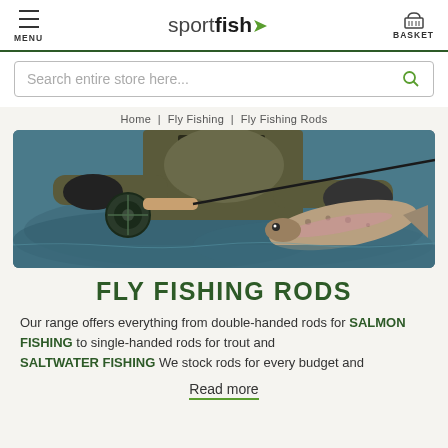MENU | sportfish | BASKET
Search entire store here...
Home | Fly Fishing | Fly Fishing Rods
[Figure (photo): Person standing in water holding a trout and a fly fishing rod with reel]
FLY FISHING RODS
Our range offers everything from double-handed rods for SALMON FISHING to single-handed rods for trout and SALTWATER FISHING. We stock rods for every budget and
Read more